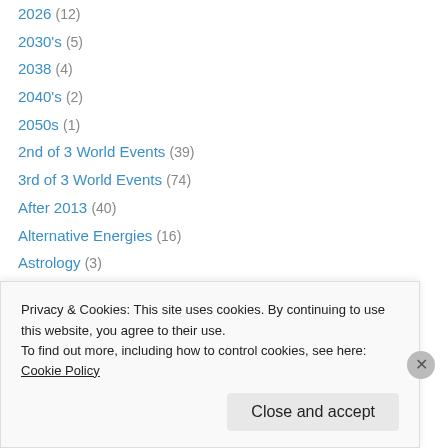2026 (12)
2030's (5)
2038 (4)
2040's (2)
2050s (1)
2nd of 3 World Events (39)
3rd of 3 World Events (74)
After 2013 (40)
Alternative Energies (16)
Astrology (3)
Atlantis (12)
California (16)
China (17)
Consciousness Shift (102)
Privacy & Cookies: This site uses cookies. By continuing to use this website, you agree to their use. To find out more, including how to control cookies, see here: Cookie Policy
Close and accept